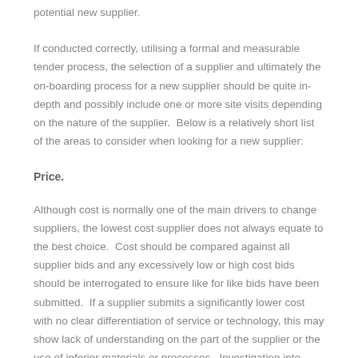potential new supplier.
If conducted correctly, utilising a formal and measurable tender process, the selection of a supplier and ultimately the on-boarding process for a new supplier should be quite in-depth and possibly include one or more site visits depending on the nature of the supplier.  Below is a relatively short list of the areas to consider when looking for a new supplier:
Price.
Although cost is normally one of the main drivers to change suppliers, the lowest cost supplier does not always equate to the best choice.  Cost should be compared against all supplier bids and any excessively low or high cost bids should be interrogated to ensure like for like bids have been submitted.  If a supplier submits a significantly lower cost with no clear differentiation of service or technology, this may show lack of understanding on the part of the supplier or the use of inferior materials or processes.  Investigation into